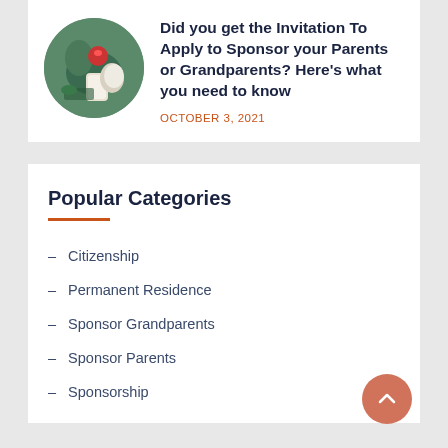[Figure (photo): Close-up photo of hands holding a small red fruit/tomato over a white cup, with green plants in the background]
Did you get the Invitation To Apply to Sponsor your Parents or Grandparents? Here’s what you need to know
OCTOBER 3, 2021
Popular Categories
Citizenship
Permanent Residence
Sponsor Grandparents
Sponsor Parents
Sponsorship